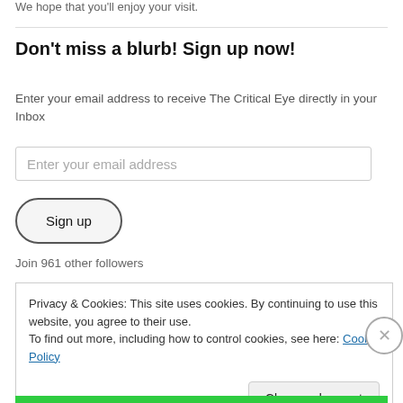We hope that you'll enjoy your visit.
Don't miss a blurb! Sign up now!
Enter your email address to receive The Critical Eye directly in your Inbox
Enter your email address
Sign up
Join 961 other followers
Privacy & Cookies: This site uses cookies. By continuing to use this website, you agree to their use.
To find out more, including how to control cookies, see here: Cookie Policy
Close and accept